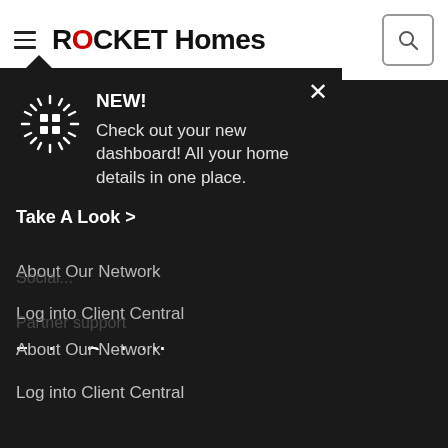[Figure (screenshot): Rocket Homes navigation header with logo, hamburger menu, and search button]
NEW!
Check out your new dashboard! All your home details in one place.
Take A Look >
Social...
Partner support
About Our Network
Log into Client Central
Explore Rocket Homes
Blog
[Figure (illustration): Twitter and Facebook social media icons in white circles]